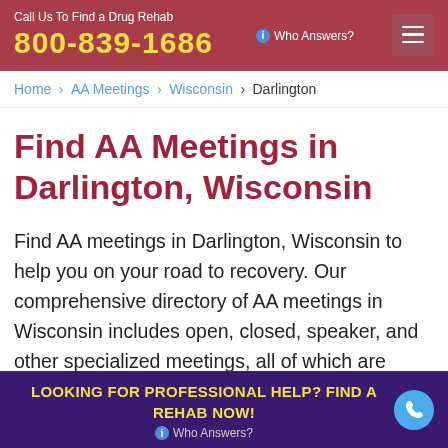Call Us To Find a Drug Rehab 800-839-1686 ⓘ Who Answers?
Home › AA Meetings › Wisconsin › Darlington
Find AA Meetings in Darlington, Wisconsin
Find AA meetings in Darlington, Wisconsin to help you on your road to recovery. Our comprehensive directory of AA meetings in Wisconsin includes open, closed, speaker, and other specialized meetings, all of which are
LOOKING FOR PROFESSIONAL HELP? FIND A REHAB NOW! ⓘ Who Answers?